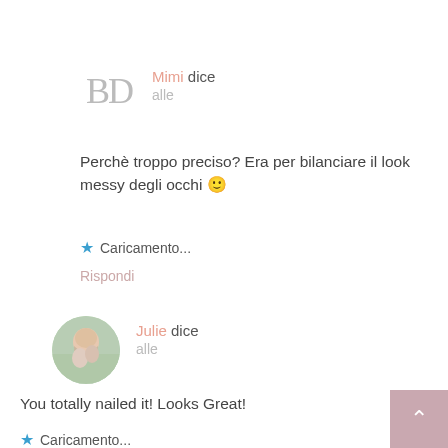[Figure (illustration): Avatar placeholder with letters BD in light gray serif font]
Mimi dice
alle
Perchè troppo preciso? Era per bilanciare il look messy degli occhi 🙂
★ Caricamento...
Rispondi
[Figure (photo): Circular profile photo of Julie, a woman with light hair outdoors with greenery in background]
Julie dice
alle
You totally nailed it! Looks Great!
★ Caricamento...